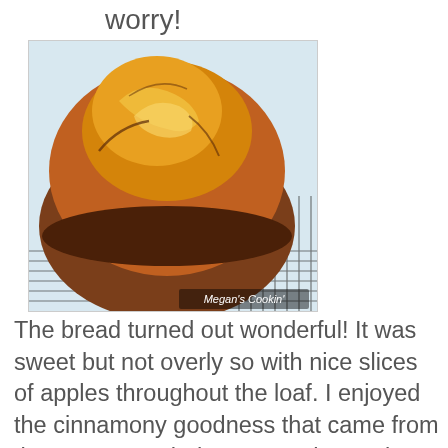worry!
[Figure (photo): A round, golden-brown braided bread loaf sitting on a wire cooling rack. Photo credit: Megan's Cookin']
The bread turned out wonderful! It was sweet but not overly so with nice slices of apples throughout the loaf. I enjoyed the cinnamony goodness that came from the extra oomph that I gave the apples. It was moist and dense like an